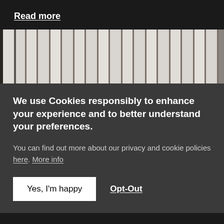Read more
[Figure (photo): Interior room photo showing white/cream vertical curtains or drapes along a wall, with a white wall section visible on the left side]
We use Cookies responsibly to enhance your experience and to better understand your preferences.
You can find out more about our privacy and cookie policies here. More info
Yes, I'm happy
Opt-Out